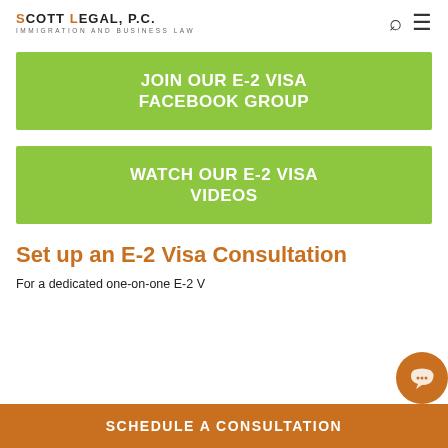SCOTT LEGAL, P.C. IMMIGRATION AND BUSINESS LAW
JOIN OUR E-2 VISA FACEBOOK GROUP
WATCH OUR E-2 VISA VIDEOS
Set up an E-2 Visa Consultation
For a dedicated one-on-one E-2 V...
SCHEDULE A CONSULTATION